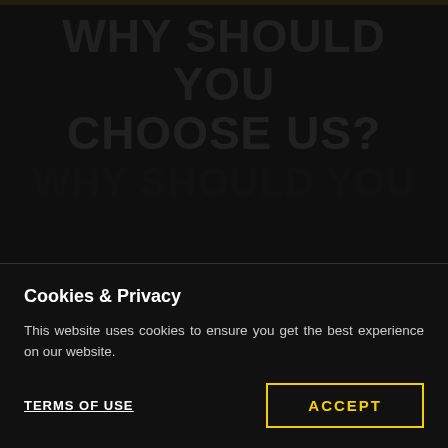WHY SHOULD YOU CHOOSE US?
People are the most important asset of our team. We think that's the most important thing in business. Therefore, we have experienced specialists who
Cookies & Privacy
This website uses cookies to ensure you get the best experience on our website.
TERMS OF USE
ACCEPT